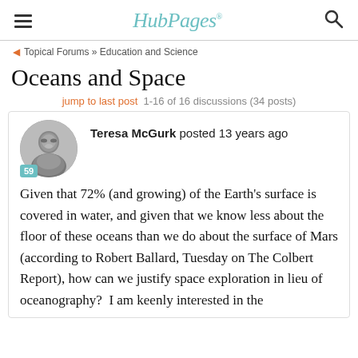HubPages
Topical Forums » Education and Science
Oceans and Space
jump to last post  1-16 of 16 discussions (34 posts)
[Figure (photo): Black and white circular avatar photo of Teresa McGurk, a woman with glasses, smiling. Badge showing '59' in teal.]
Teresa McGurk posted 13 years ago
Given that 72% (and growing) of the Earth's surface is covered in water, and given that we know less about the floor of these oceans than we do about the surface of Mars (according to Robert Ballard, Tuesday on The Colbert Report), how can we justify space exploration in lieu of oceanography?  I am keenly interested in the